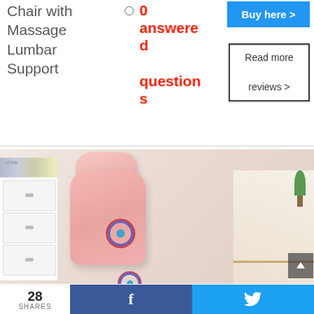Chair with Massage Lumbar Support
0 answered questions
Buy here >
Read more reviews >
[Figure (photo): Pink massage office chair with circular massage button visible, shown in a room with white drawer unit and desk in background]
28 SHARES
f
Twitter bird icon